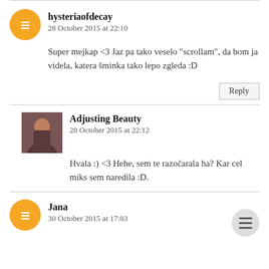hysteriaofdecay
28 October 2015 at 22:10
Super mejkap <3 Jaz pa tako veselo "scrollam", da bom ja videla, katera šminka tako lepo zgleda :D
Reply
Adjusting Beauty
28 October 2015 at 22:12
Hvala :) <3 Hehe, sem te razočarala ha? Kar cel miks sem naredila :D.
Jana
30 October 2015 at 17:03